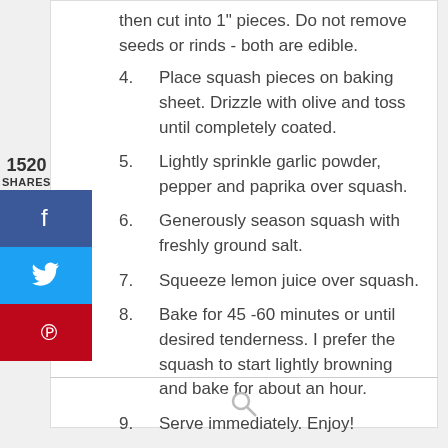then cut into 1" pieces. Do not remove seeds or rinds - both are edible.
4. Place squash pieces on baking sheet. Drizzle with olive and toss until completely coated.
5. Lightly sprinkle garlic powder, pepper and paprika over squash.
6. Generously season squash with freshly ground salt.
7. Squeeze lemon juice over squash.
8. Bake for 45 -60 minutes or until desired tenderness. I prefer the squash to start lightly browning and bake for about an hour.
9. Serve immediately. Enjoy!